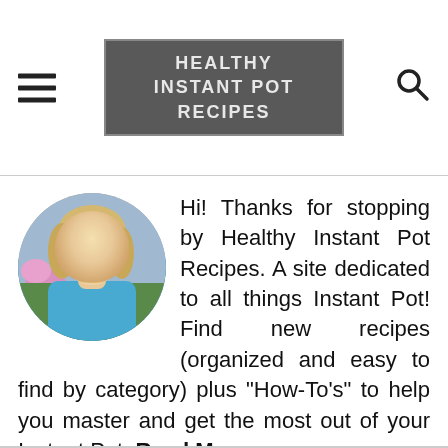HEALTHY INSTANT POT RECIPES
[Figure (photo): Circular profile photo of a smiling blonde woman wearing a blue top, with flowers in the background]
Hi! Thanks for stopping by Healthy Instant Pot Recipes. A site dedicated to all things Instant Pot! Find new recipes (organized and easy to find by category) plus "How-To's" to help you master and get the most out of your Instant Pot. Read More...